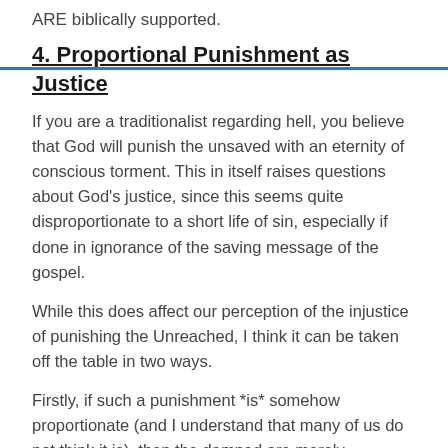ARE biblically supported.
4. Proportional Punishment as Justice
If you are a traditionalist regarding hell, you believe that God will punish the unsaved with an eternity of conscious torment. This in itself raises questions about God’s justice, since this seems quite disproportionate to a short life of sin, especially if done in ignorance of the saving message of the gospel.
While this does affect our perception of the injustice of punishing the Unreached, I think it can be taken off the table in two ways.
Firstly, if such a punishment *is* somehow proportionate (and I understand that many of us do not think it is), then the damned are merely